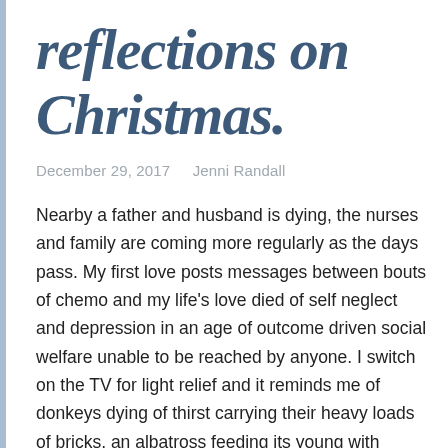reflections on Christmas.
December 29, 2017   Jenni Randall
Nearby  a father and husband is dying,  the nurses and family are coming more regularly as the days pass. My first love posts messages between bouts of chemo and my life's love died of self neglect and depression in an age of outcome driven social welfare unable to be reached by anyone. I  switch on the TV for light relief and it reminds me of donkeys dying of thirst carrying their heavy loads of bricks, an albatross feeding its young with plastic from our seas, of orphans living on the streets,  a toddler in a cardboard box on a main street seemingly invisible to passing shoppers, refugees with